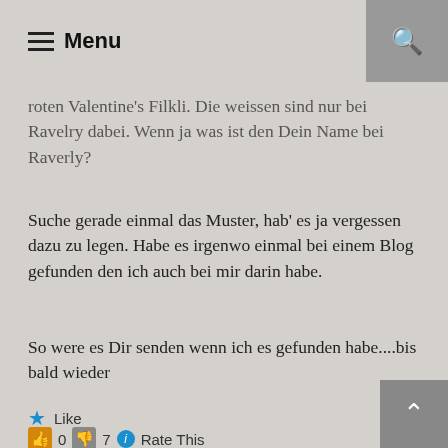Menu
roten Valentine's Filkli. Die weissen sind nur bei Ravelry dabei. Wenn ja was ist den Dein Name bei Raverly?
Suche gerade einmal das Muster, hab' es ja vergessen dazu zu legen. Habe es irgenwo einmal bei einem Blog gefunden den ich auch bei mir darin habe.
So were es Dir senden wenn ich es gefunden habe....bis bald wieder
Gruesseli
Like
0  7  Rate This